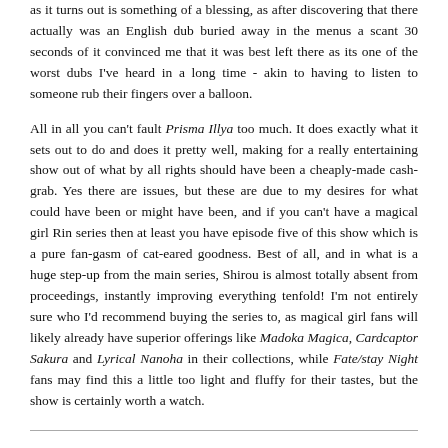as it turns out is something of a blessing, as after discovering that there actually was an English dub buried away in the menus a scant 30 seconds of it convinced me that it was best left there as its one of the worst dubs I've heard in a long time - akin to having to listen to someone rub their fingers over a balloon.
All in all you can't fault Prisma Illya too much. It does exactly what it sets out to do and does it pretty well, making for a really entertaining show out of what by all rights should have been a cheaply-made cash-grab. Yes there are issues, but these are due to my desires for what could have been or might have been, and if you can't have a magical girl Rin series then at least you have episode five of this show which is a pure fan-gasm of cat-eared goodness. Best of all, and in what is a huge step-up from the main series, Shirou is almost totally absent from proceedings, instantly improving everything tenfold! I'm not entirely sure who I'd recommend buying the series to, as magical girl fans will likely already have superior offerings like Madoka Magica, Cardcaptor Sakura and Lyrical Nanoha in their collections, while Fate/stay Night fans may find this a little too light and fluffy for their tastes, but the show is certainly worth a watch.
Extras:
English and Japanese stereo audio with English subtitles. Extras consist of clean opening and closing credits, and a